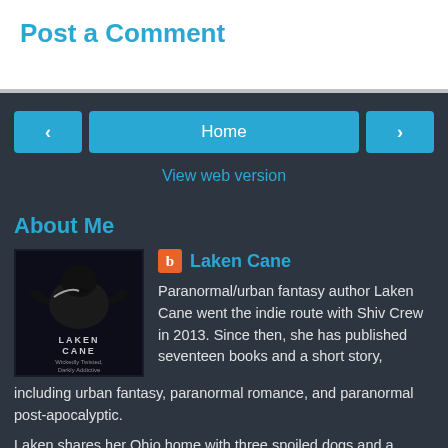Post a Comment
‹
Home
›
View web version
About Me
Laken Cane
Paranormal/urban fantasy author Laken Cane went the indie route with Shiv Crew in 2013. Since then, she has published seventeen books and a short story, including urban fantasy, paranormal romance, and paranormal post-apocalyptic.
Laken shares her Ohio home with three spoiled dogs and a tenacious African Violet, drinks too much coffee, and continues to explore all the worlds that live inside her mind.
You can connect with Laken through her website at